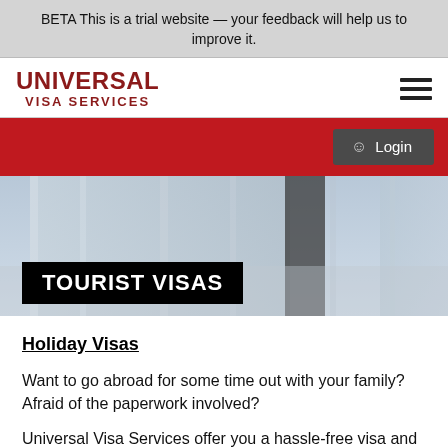BETA This is a trial website — your feedback will help us to improve it.
[Figure (logo): Universal Visa Services logo with hamburger menu icon]
[Figure (screenshot): Red navigation bar with Login button on the right]
[Figure (photo): Blurred background photo of a building interior with glass windows]
TOURIST VISAS
Holiday Visas
Want to go abroad for some time out with your family? Afraid of the paperwork involved?
Universal Visa Services offer you a hassle-free visa and